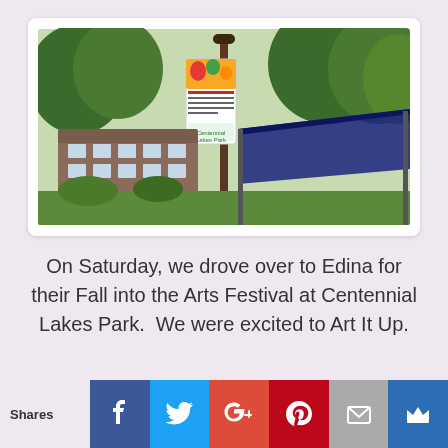[Figure (photo): Outdoor festival photo showing a colorful banner on a pole reading Fall into the Arts / Centennial Lakes Park, with trees and a brick building in the background and a dark tent canopy.]
On Saturday, we drove over to Edina for their Fall into the Arts Festival at Centennial Lakes Park.  We were excited to Art It Up.
[Figure (photo): Two people smiling outdoors at the festival, with trees in the background. A woman with blonde hair on the left and a man on the right.]
Shares | Facebook | Twitter | Google+ | Pinterest | Email | Crown